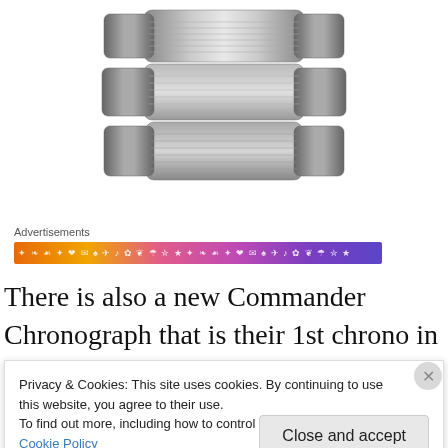[Figure (photo): Close-up photograph of a stainless steel watch bracelet/band with brushed metal links, viewed from below/clasp side]
Advertisements
[Figure (other): Colorful horizontal advertisement banner with icons and text on gradient orange to purple background]
There is also a new Commander Chronograph that is their 1st chrono in the series.  Another amazing looking piece, and sure to be reasonably priced.
Privacy & Cookies: This site uses cookies. By continuing to use this website, you agree to their use.
To find out more, including how to control cookies, see here: Cookie Policy